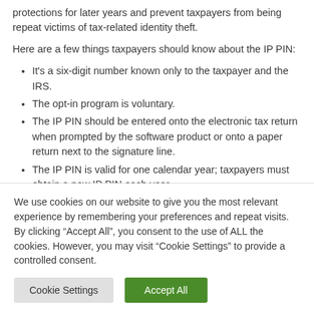protections for later years and prevent taxpayers from being repeat victims of tax-related identity theft.
Here are a few things taxpayers should know about the IP PIN:
It's a six-digit number known only to the taxpayer and the IRS.
The opt-in program is voluntary.
The IP PIN should be entered onto the electronic tax return when prompted by the software product or onto a paper return next to the signature line.
The IP PIN is valid for one calendar year; taxpayers must obtain a new IP PIN each year.
Only dependents who can verify their identities may obtain
We use cookies on our website to give you the most relevant experience by remembering your preferences and repeat visits. By clicking “Accept All”, you consent to the use of ALL the cookies. However, you may visit “Cookie Settings” to provide a controlled consent.
Cookie Settings | Accept All